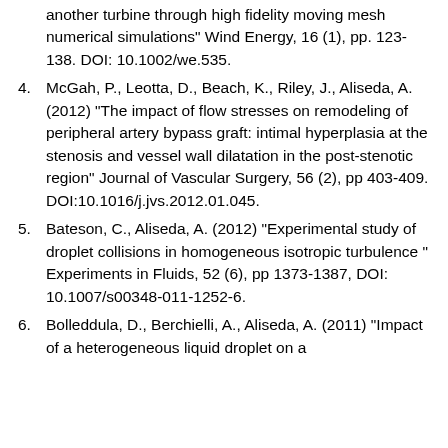(continuation) another turbine through high fidelity moving mesh numerical simulations" Wind Energy, 16 (1), pp. 123-138. DOI: 10.1002/we.535.
4. McGah, P., Leotta, D., Beach, K., Riley, J., Aliseda, A. (2012) "The impact of flow stresses on remodeling of peripheral artery bypass graft: intimal hyperplasia at the stenosis and vessel wall dilatation in the post-stenotic region" Journal of Vascular Surgery, 56 (2), pp 403-409. DOI:10.1016/j.jvs.2012.01.045.
5. Bateson, C., Aliseda, A. (2012) "Experimental study of droplet collisions in homogeneous isotropic turbulence " Experiments in Fluids, 52 (6), pp 1373-1387, DOI: 10.1007/s00348-011-1252-6.
6. Bolleddula, D., Berchielli, A., Aliseda, A. (2011) "Impact of a heterogeneous liquid droplet on a